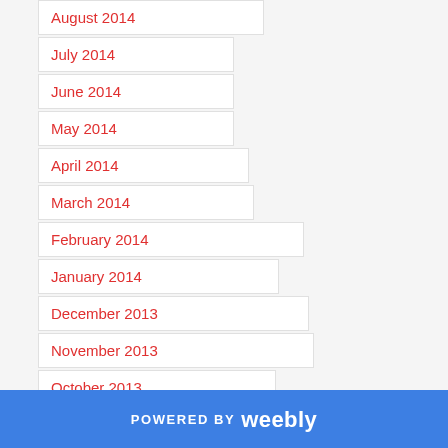August 2014
July 2014
June 2014
May 2014
April 2014
March 2014
February 2014
January 2014
December 2013
November 2013
October 2013
September 2013
August 2013
POWERED BY weebly